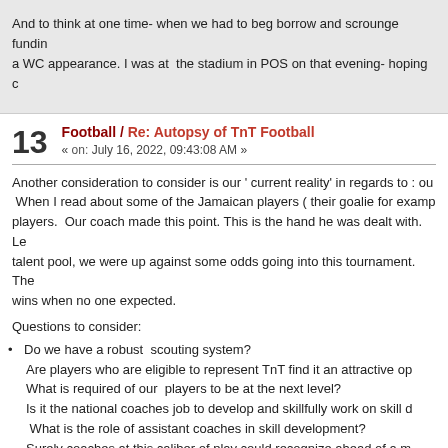And to think at one time- when we had to beg borrow and scrounge funding a WC appearance. I was at  the stadium in POS on that evening- hoping c
13  Football / Re: Autopsy of TnT Football
« on: July 16, 2022, 09:43:08 AM »
Another consideration to consider is our ' current reality' in regards to : ou When I read about some of the Jamaican players ( their goalie for examp players.  Our coach made this point. This is the hand he was dealt with. Le talent pool, we were up against some odds going into this tournament. The wins when no one expected.
Questions to consider:
Do we have a robust  scouting system?
Are players who are eligible to represent TnT find it an attractive op
What is required of our  players to be at the next level?
Is it the national coaches job to develop and skillfully work on skill d
What is the role of assistant coaches in skill development?
Surely coaches at this caliber of play could recognize ahead of a m
YOU TUBE - could recognize the competitive abilities